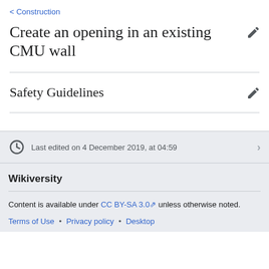< Construction
Create an opening in an existing CMU wall
Safety Guidelines
Last edited on 4 December 2019, at 04:59
Wikiversity
Content is available under CC BY-SA 3.0 unless otherwise noted.
Terms of Use • Privacy policy • Desktop